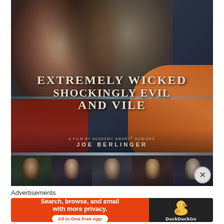[Figure (photo): Movie poster for 'Extremely Wicked, Shockingly Evil and Vile'. Shows a woman and man in dark dramatic lighting with text overlay. Below the main image is a strip of 5 cast member headshots. A close/dismiss button (X) appears in the lower right.]
Advertisements
[Figure (infographic): DuckDuckGo advertisement banner. Left side: orange background with text 'Search, browse, and email with more privacy. All in One Free App'. Right side: dark background with DuckDuckGo duck logo and 'DuckDuckGo' text.]